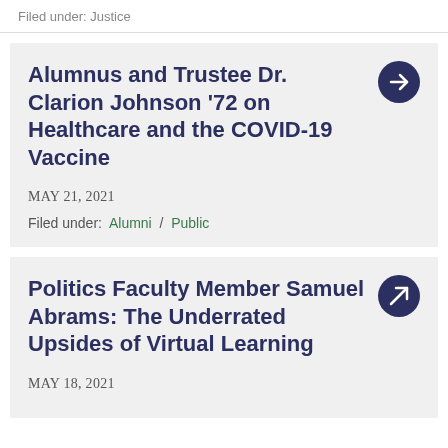Filed under: Justice
Alumnus and Trustee Dr. Clarion Johnson '72 on Healthcare and the COVID-19 Vaccine
MAY 21, 2021
Filed under: Alumni / Public
Politics Faculty Member Samuel Abrams: The Underrated Upsides of Virtual Learning
MAY 18, 2021